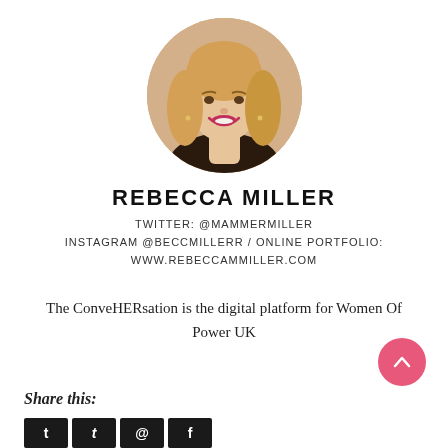[Figure (photo): Circular cropped headshot photo of Rebecca Miller, a woman with blonde curly hair, smiling, wearing a dark top, against a warm beige background.]
REBECCA MILLER
Twitter: @mammermiller
Instagram @beccmillerr / online portfolio:
www.rebeccammiller.com
The ConveHERsation is the digital platform for Women Of Power UK
Share this: